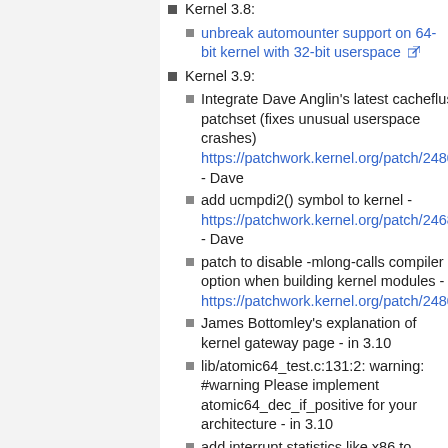Kernel 3.8:
unbreak automounter support on 64-bit kernel with 32-bit userspace [external link]
Kernel 3.9:
Integrate Dave Anglin's latest cacheflush patchset (fixes unusual userspace crashes) https://patchwork.kernel.org/patch/2480891… - Dave
add ucmpdi2() symbol to kernel - https://patchwork.kernel.org/patch/2468471… - Dave
patch to disable -mlong-calls compiler option when building kernel modules - https://patchwork.kernel.org/patch/2480001…
James Bottomley's explanation of kernel gateway page - in 3.10
lib/atomic64_test.c:131:2: warning: #warning Please implement atomic64_dec_if_positive for your architecture - in 3.10
add interrupt statistics like x86 to /proc/interrupts - in 3.10